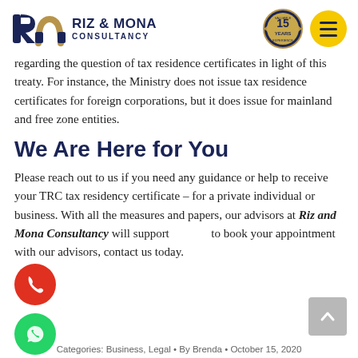Riz & Mona Consultancy — 15 Years — Navigation
regarding the question of tax residence certificates in light of this treaty. For instance, the Ministry does not issue tax residence certificates for foreign corporations, but it does issue for mainland and free zone entities.
We Are Here for You
Please reach out to us if you need any guidance or help to receive your TRC tax residency certificate – for a private individual or business. With all the measures and papers, our advisors at Riz and Mona Consultancy will support to book your appointment with our advisors, contact us today.
Categories: Business, Legal • By Brenda • October 15, 2020